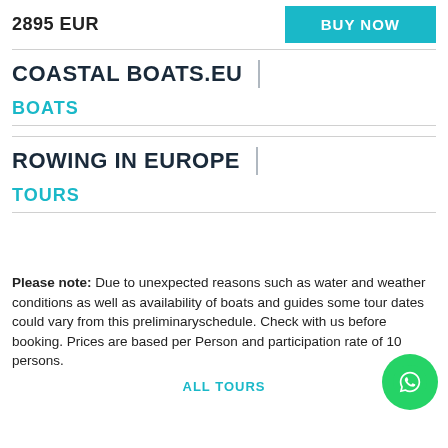2895 EUR
BUY NOW
COASTAL BOATS.EU
BOATS
ROWING IN EUROPE
TOURS
Please note: Due to unexpected reasons such as water and weather conditions as well as availability of boats and guides some tour dates could vary from this preliminaryschedule. Check with us before booking. Prices are based per Person and participation rate of 10 persons.
ALL TOURS